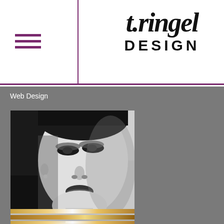t.ringel DESIGN
Web Design
[Figure (photo): Black and white close-up photograph of a woman's face, dramatic makeup, looking slightly upward]
[Figure (illustration): Decorative horizontal gradient bars in gold/tan tones below the photo]